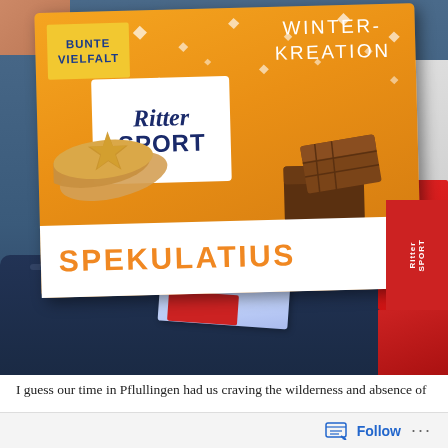[Figure (photo): A Ritter Sport Spekulatius winter chocolate bar (orange packaging, white label) being held up, with other items and a bag visible in the background. The packaging reads BUNTE VIELFALT, WINTER-KREATION, Ritter Sport logo, and SPEKULATIUS in orange text.]
I guess our time in Pflullingen had us craving the wilderness and absence of
Follow ···